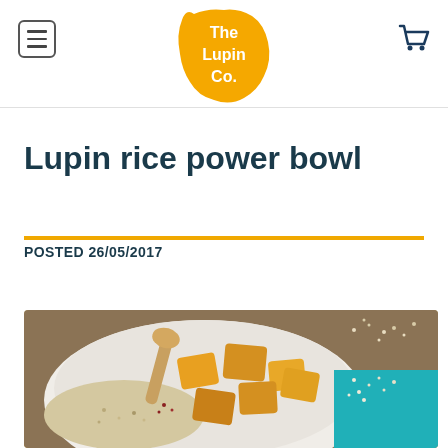[Figure (logo): The Lupin Co. logo — orange/yellow blob shape with white text reading 'The Lupin Co.']
Lupin rice power bowl
POSTED 26/05/2017
[Figure (photo): Close-up photo of a white bowl containing a lupin rice power bowl with roasted golden squash cubes, quinoa, grains, and a wooden spoon, on a wooden table with seeds scattered nearby and a teal surface visible.]